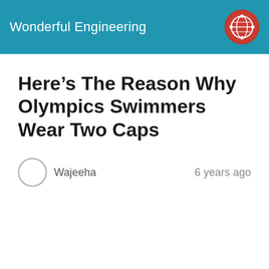Wonderful Engineering
Here’s The Reason Why Olympics Swimmers Wear Two Caps
Wajeeha
6 years ago